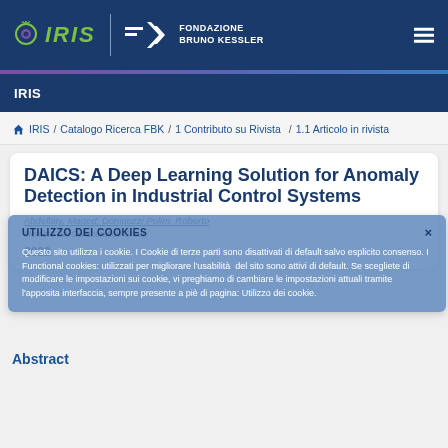[Figure (logo): IRIS logo with green text and brain icon, and Fondazione Bruno Kessler logo, on dark blue header bar]
IRIS
IRIS / Catalogo Ricerca FBK / 1 Contributo su Rivista / 1.1 Articolo in rivista
DAICS: A Deep Learning Solution for Anomaly Detection in Industrial Control Systems
Abdellaty, Maged; Doniguzzi Polim, Roberto
Membro del Collaboration Group
2022
UTILIZZO DEI COOKIES
Questo sito utilizza i cookie. I Cookie di terze parti sono disattivati di default salvo esplicito consenso. I Functional cookies: utilizzati per migliorare l'usabilità del sito sono attivi di default. Se scegliete di modificare le impostazioni sui cookie, vi preghiamo di cambiare le impostazioni attuali tramite l'apposita interfaccia, sempre presente a piè di pagina: Utilizzo dei cookie.
Abstract